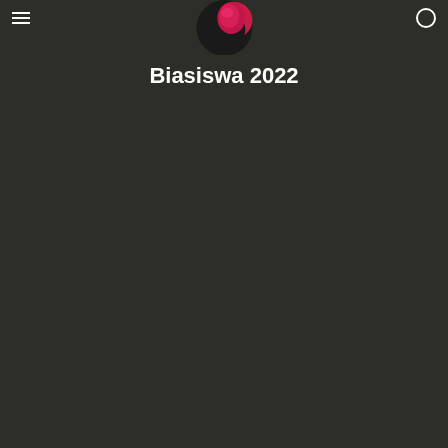Biasiswa 2022
[Figure (logo): A circular logo with a dark background featuring a red/pink crescent or partial circle shape, centered at the top of the page]
Biasiswa 2022